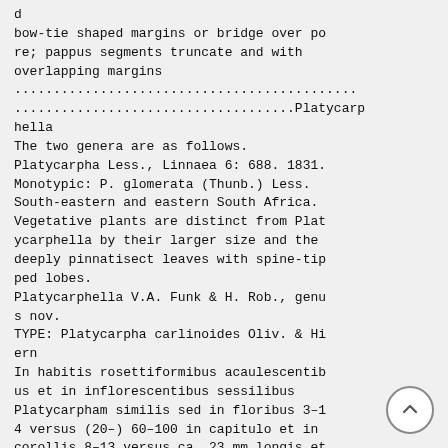d
bow-tie shaped margins or bridge over pore; pappus segments truncate and with overlapping margins
............................................
....................................Platycarphella
The two genera are as follows.
Platycarpha Less., Linnaea 6: 688. 1831. Monotypic: P. glomerata (Thunb.) Less. South-eastern and eastern South Africa. Vegetative plants are distinct from Platycarphella by their larger size and the deeply pinnatisect leaves with spine-tipped lobes.
Platycarphella V.A. Funk & H. Rob., genus nov.
TYPE: Platycarpha carlinoides Oliv. & Hiern
In habitis rosettiformibus acaulescentibus et in inflorescentibus sessilibus Platycarpham similis sed in floribus 3-14 versus (20-) 60-100 in capitulo et in corollis 8-13 versus ca. 23 mm longis et in ramis stylorum ca. 1 versus ca. 3 mm